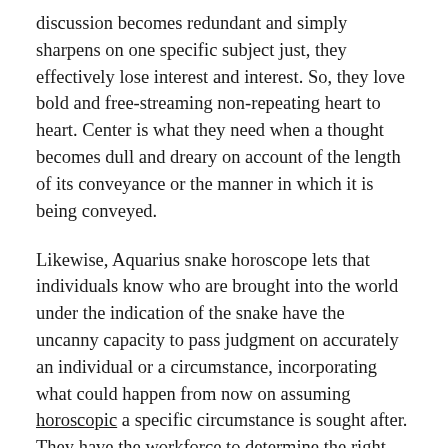discussion becomes redundant and simply sharpens on one specific subject just, they effectively lose interest and interest. So, they love bold and free-streaming non-repeating heart to heart. Center is what they need when a thought becomes dull and dreary on account of the length of its conveyance or the manner in which it is being conveyed.
Likewise, Aquarius snake horoscope lets that individuals know who are brought into the world under the indication of the snake have the uncanny capacity to pass judgment on accurately an individual or a circumstance, incorporating what could happen from now on assuming horoscopic a specific circumstance is sought after. They have the workforce to determine the right way and choice and they follow it perseveringly and with power. The negative part of this is that they seldom pay attention to suggestions and insight from any other